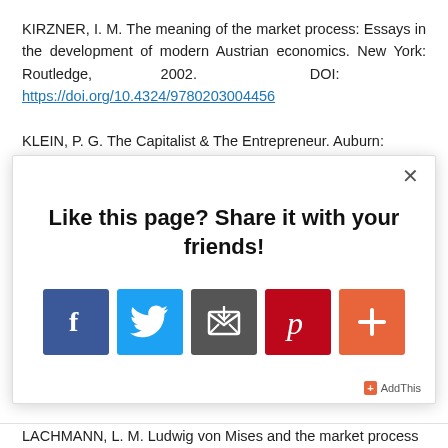KIRZNER, I. M. The meaning of the market process: Essays in the development of modern Austrian economics. New York: Routledge, 2002. DOI: https://doi.org/10.4324/9780203004456
KLEIN, P. G. The Capitalist & The Entrepreneur. Auburn:
[Figure (screenshot): Social sharing modal popup with title 'Like this page? Share it with your friends!' and five share buttons: Facebook (blue), Twitter (light blue), Email (dark grey), Pinterest (red), and a More/Plus button (orange). An AddThis label appears at the bottom right with a close (×) button at top right.]
LACHMANN, L. M. Ludwig von Mises and the market process